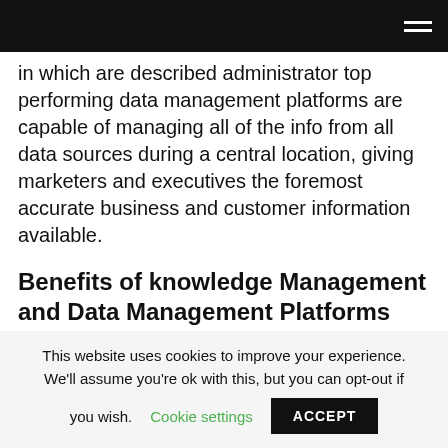[navigation bar with hamburger menu]
in which are described administrator top performing data management platforms are capable of managing all of the info from all data sources during a central location, giving marketers and executives the foremost accurate business and customer information available.
Benefits of knowledge Management and Data Management Platforms
Data management platformManaging your data
This website uses cookies to improve your experience. We'll assume you're ok with this, but you can opt-out if you wish. Cookie settings ACCEPT